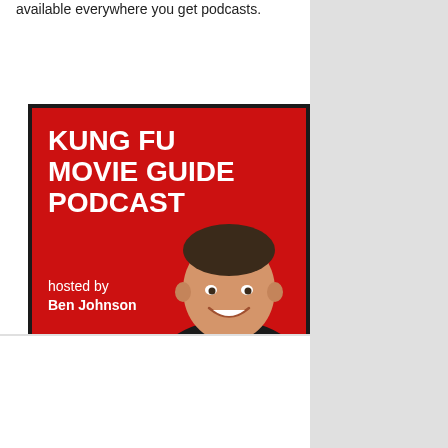available everywhere you get podcasts.
[Figure (other): Kung Fu Movie Guide Podcast cover art — red background with bold white text reading 'KUNG FU MOVIE GUIDE PODCAST hosted by Ben Johnson', with a photo of a smiling man in a black hoodie.]
#KFMGPod: available now on Acast
[Figure (screenshot): Acast podcast player embed showing Episode 79 - End of Year Show... with thumbnail of two men and KFMG badge.]